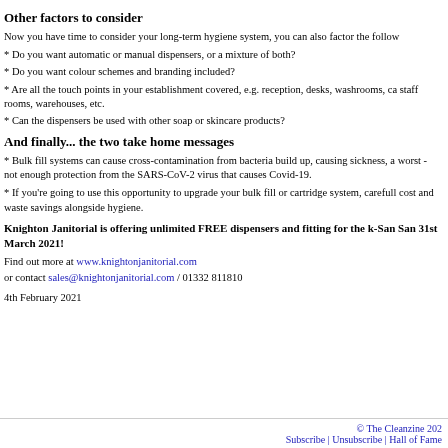Other factors to consider
Now you have time to consider your long-term hygiene system, you can also factor the follow
* Do you want automatic or manual dispensers, or a mixture of both?
* Do you want colour schemes and branding included?
* Are all the touch points in your establishment covered, e.g. reception, desks, washrooms, ca staff rooms, warehouses, etc.
* Can the dispensers be used with other soap or skincare products?
And finally... the two take home messages
* Bulk fill systems can cause cross-contamination from bacteria build up, causing sickness, a worst - not enough protection from the SARS-CoV-2 virus that causes Covid-19.
* If you're going to use this opportunity to upgrade your bulk fill or cartridge system, carefull cost and waste savings alongside hygiene.
Knighton Janitorial is offering unlimited FREE dispensers and fitting for the k-San San 31st March 2021!
Find out more at www.knightonjanitorial.com or contact sales@knightonjanitorial.com / 01332 811810
4th February 2021
© The Cleanzine 202 Subscribe | Unsubscribe | Hall of Fame